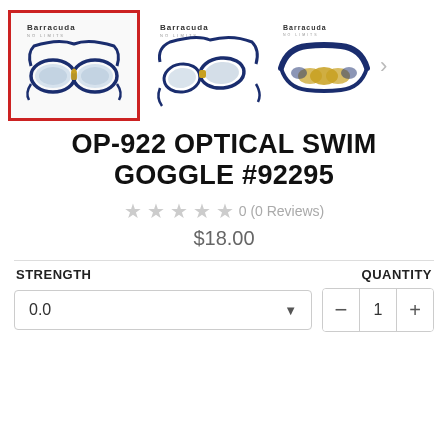[Figure (photo): Three product images of Barracuda OP-922 optical swim goggles. First image (selected, red border) shows front view of blue/gold goggles. Second shows side angle view. Third shows back/strap detail. Navigation arrow on right.]
OP-922 OPTICAL SWIM GOGGLE #92295
★★★★★ 0 (0 Reviews)
$18.00
STRENGTH
QUANTITY
0.0
1